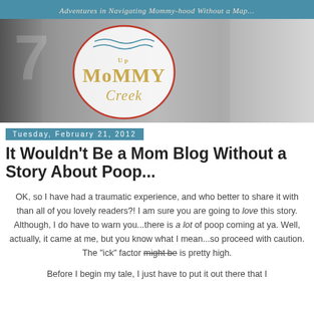[Figure (illustration): Blog header banner for 'Up Mommy Creek' with teal background, subtitle 'Adventures in Navigating Mommy-hood Without a Map...', a logo with egg/oval shape in red border containing the text 'Up MoMMY Creek' in gold, and a black-and-white photo of mothers and children in the background.]
Tuesday, February 21, 2012
It Wouldn't Be a Mom Blog Without a Story About Poop...
OK, so I have had a traumatic experience, and who better to share it with than all of you lovely readers?! I am sure you are going to love this story. Although, I do have to warn you...there is a lot of poop coming at ya. Well, actually, it came at me, but you know what I mean...so proceed with caution. The "ick" factor might be is pretty high.
Before I begin my tale, I just have to put it out there that I